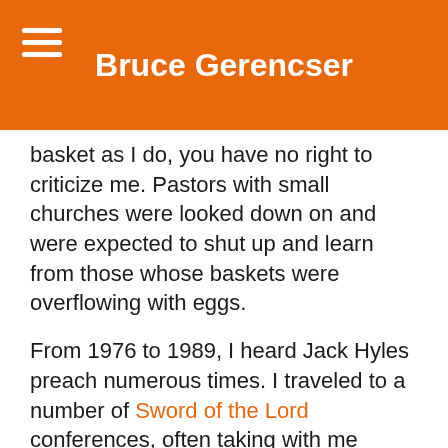Bruce Gerencser
basket as I do, you have no right to criticize me. Pastors with small churches were looked down on and were expected to shut up and learn from those whose baskets were overflowing with eggs.
From 1976 to 1989, I heard Jack Hyles preach numerous times. I traveled to a number of Sword of the Lord conferences, often taking with me people from the churches I pastored. Hyles was a dynamic preacher, a real motivator. He used very little of the Bible in his preaching. His sermons were always topical or textual and were littered with personal stories and illustrations. Hyles was a narcissist.